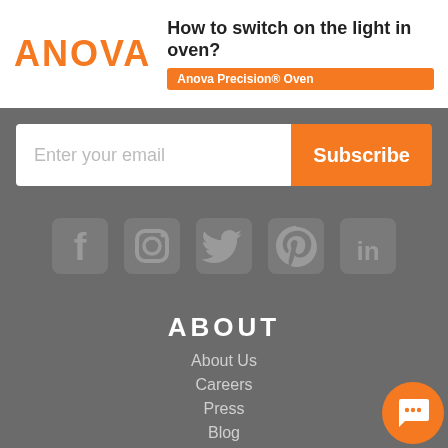How to switch on the light in oven? Anova Precision® Oven
Enter your email
Subscribe
[Figure (illustration): Social media icons: Facebook, Instagram, Twitter, Pinterest, LinkedIn]
ABOUT
About Us
Careers
Press
Blog